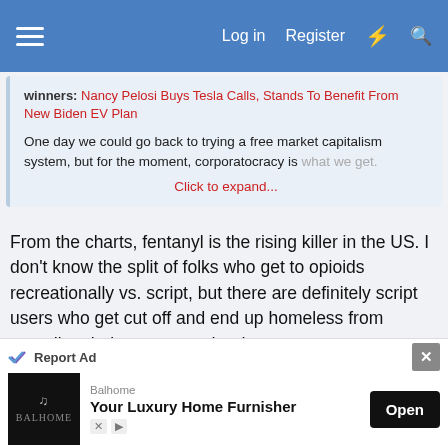Log in  Register
winners: Nancy Pelosi Buys Tesla Calls, Stands To Benefit From New Biden EV Plan
One day we could go back to trying a free market capitalism system, but for the moment, corporatocracy is what we get.
Click to expand...
From the charts, fentanyl is the rising killer in the US. I don't know the split of folks who get to opioids recreationally vs. script, but there are definitely script users who get cut off and end up homeless from spending their money on the drugs.
Expect that addicts and deaths will drop here because the supply is monitored now. You can probably bring
Report Ad
Balhome
Your Luxury Home Furnisher
Open